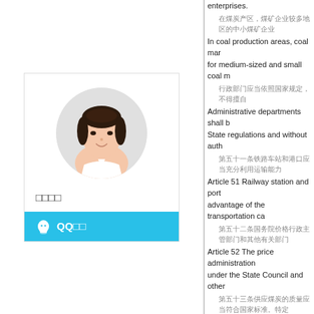[Figure (photo): Profile photo of a young woman in a circular crop, displayed in a profile card with Chinese name placeholder and QQ login bar]
enterprises.
在煤炭产区，煤矿企业较多地区的中小煤矿企业
In coal production areas, coal mar for medium-sized and small coal m
行政部门应当依照国家规定，不得擅自
Administrative departments shall b State regulations and without auth
第五十一条铁路车站和港口应当充分利用运输能力
Article 51 Railway station and port advantage of the transportation ca
第五十二条国务院价格行政主管部门和其他有关部门
Article 52 The price administration under the State Council and other
第五十三条供应煤炭的质量应当符合国家标准。特定
Article 53 The quality of coal supp standards. The quality of a specifi
用户有特殊要求的，依照购销合同执行。
Where customers have special re and sale contract.
煤矿企业和煤炭经营企业
Coal mining enterprises and coal t
第五十四条如果供应煤炭质量
Article 54 If the quality of coal supp